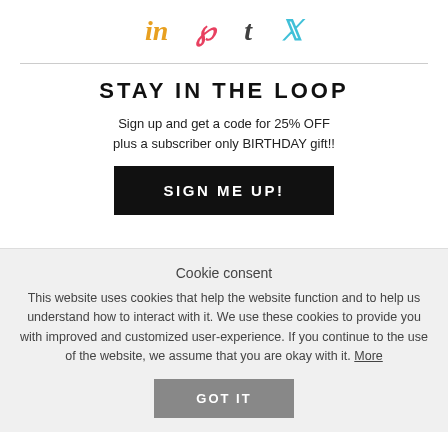[Figure (illustration): Social media icons row: LinkedIn (gold), Pinterest (pink/red), Tumblr (dark), Twitter (cyan)]
STAY IN THE LOOP
Sign up and get a code for 25% OFF plus a subscriber only BIRTHDAY gift!!
SIGN ME UP!
Cookie consent
This website uses cookies that help the website function and to help us understand how to interact with it. We use these cookies to provide you with improved and customized user-experience. If you continue to the use of the website, we assume that you are okay with it. More
GOT IT